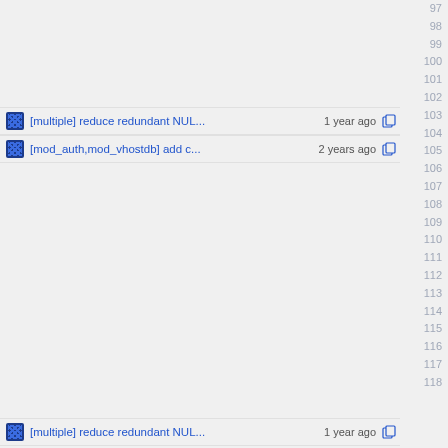Line numbers 97-118 (code file view)
[multiple] reduce redundant NUL... 1 year ago  103
[mod_auth,mod_vhostdb] add c... 2 years ago  104
[multiple] reduce redundant NUL... 1 year ago  118